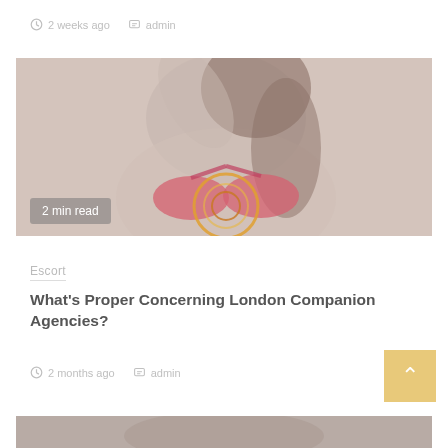2 weeks ago  admin
[Figure (photo): Woman in pink bikini top, partially cropped, with decorative circular overlay, reading '2 min read' badge in lower left]
Escort
What's Proper Concerning London Companion Agencies?
2 months ago  admin